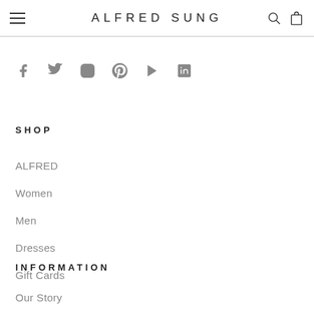ALFRED SUNG
[Figure (other): Social media icons row: Facebook, Twitter, Instagram, Pinterest, YouTube, LinkedIn]
SHOP
ALFRED
Women
Men
Dresses
Gift Cards
INFORMATION
Our Story